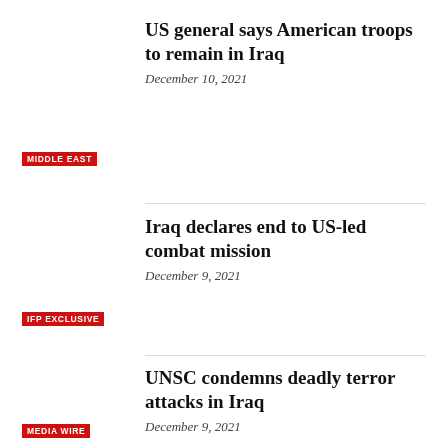US general says American troops to remain in Iraq
December 10, 2021
MIDDLE EAST
Iraq declares end to US-led combat mission
December 9, 2021
IFP EXCLUSIVE
UNSC condemns deadly terror attacks in Iraq
December 9, 2021
MEDIA WIRE